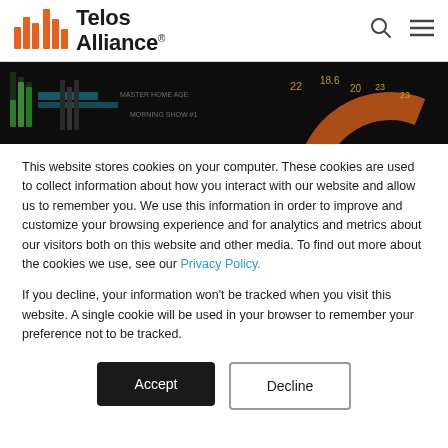[Figure (logo): Telos Alliance logo with orange bar chart icon and bold text 'Telos Alliance' with registered trademark symbol]
[Figure (photo): Dark hero banner image showing broadcast audio mixing console/screen with colorful meters and numeric displays]
This website stores cookies on your computer. These cookies are used to collect information about how you interact with our website and allow us to remember you. We use this information in order to improve and customize your browsing experience and for analytics and metrics about our visitors both on this website and other media. To find out more about the cookies we use, see our Privacy Policy.
If you decline, your information won't be tracked when you visit this website. A single cookie will be used in your browser to remember your preference not to be tracked.
Accept
Decline